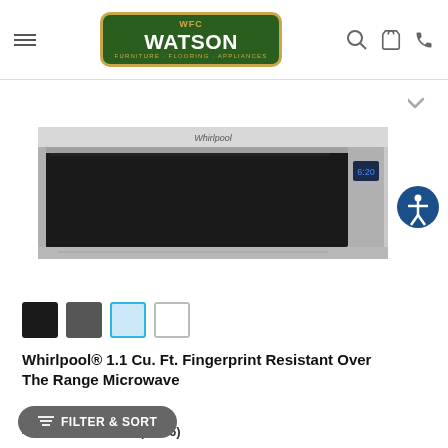WFC Watson Furniture Flooring Appliances — navigation bar with hamburger menu, search, cart, and phone icons
[Figure (photo): Whirlpool over-the-range microwave in stainless steel finish, wide low-profile design with black door and digital display showing 6:20]
[Figure (other): Accessibility icon button (person with arms outstretched in circle, dark blue)]
[Figure (other): Four color swatches: black, dark gray, light blue/steel (selected with cyan border), white]
Whirlpool® 1.1 Cu. Ft. Fingerprint Resistant Over The Range Microwave
...1HZ
4.6 ★★★★★ (1,346)
FILTER & SORT